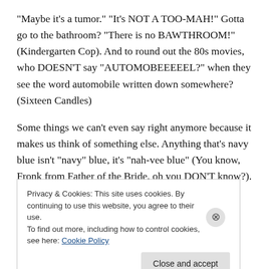“Maybe it’s a tumor.”  “It’s NOT A TOO-MAH!”  Gotta go to the bathroom?  “There is no BAWTHROOM!” (Kindergarten Cop).  And to round out the 80s movies, who DOESN’T say “AUTOMOBEEEEEL?” when they see the word automobile written down somewhere?  (Sixteen Candles)
Some things we can’t even say right anymore because it makes us think of something else.  Anything that’s navy blue isn’t “navy” blue, it’s “nah-vee blue” (You know, Fronk from Father of the Bride, oh you DON’T know?).  Or we
Privacy & Cookies: This site uses cookies. By continuing to use this website, you agree to their use.
To find out more, including how to control cookies, see here: Cookie Policy